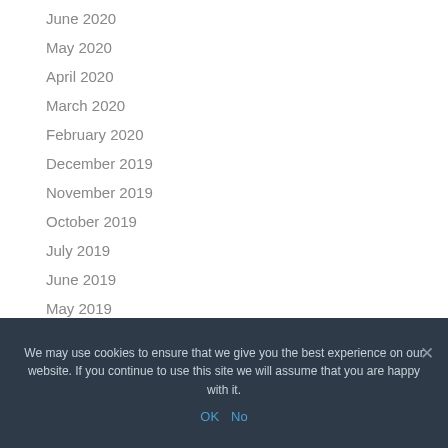June 2020
May 2020
April 2020
March 2020
February 2020
December 2019
November 2019
October 2019
July 2019
June 2019
May 2019
We may use cookies to ensure that we give you the best experience on our website. If you continue to use this site we will assume that you are happy with it.
OK  No